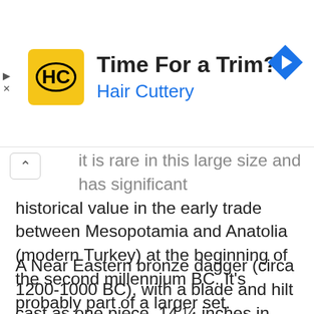[Figure (infographic): Hair Cuttery advertisement banner with yellow square logo containing 'HC' text in a circle, title 'Time For a Trim?', subtitle 'Hair Cuttery' in blue, and a blue diamond navigation icon on the right.]
it is rare in this large size and has significant historical value in the early trade between Mesopotamia and Anatolia (modern Turkey) at the beginning of the second millennium BC. It's probably part of a larger set.
A Near Eastern bronze dagger (circa 1200-1000 BC), with a blade and hilt cast as one piece, 14 ¼ inches in length, has a pre-sale estimate of $500-$800. The hilt is flanged with curved lappets over the guard, which originally held the inlays in place. The blade is long and narrow, with a shallow midrib. The dagger is well-